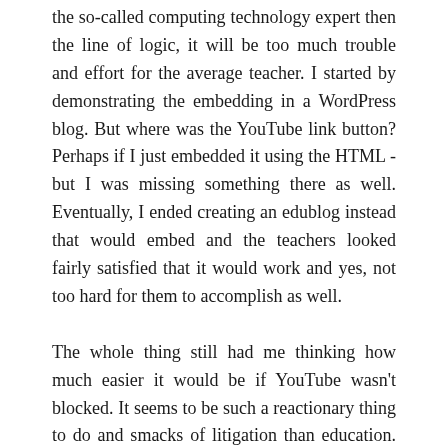the so-called computing technology expert then the line of logic, it will be too much trouble and effort for the average teacher. I started by demonstrating the embedding in a WordPress blog. But where was the YouTube link button? Perhaps if I just embedded it using the HTML - but I was missing something there as well. Eventually, I ended creating an edublog instead that would embed and the teachers looked fairly satisfied that it would work and yes, not too hard for them to accomplish as well.
The whole thing still had me thinking how much easier it would be if YouTube wasn't blocked. It seems to be such a reactionary thing to do and smacks of litigation than education. It's not as if filters can"protect" our students out of hours. Which